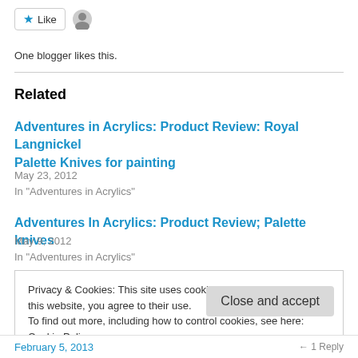[Figure (other): Like button with star icon and avatar icon beside it]
One blogger likes this.
Related
Adventures in Acrylics: Product Review: Royal Langnickel Palette Knives for painting
May 23, 2012
In "Adventures in Acrylics"
Adventures In Acrylics: Product Review; Palette knives
May 9, 2012
In "Adventures in Acrylics"
Privacy & Cookies: This site uses cookies. By continuing to use this website, you agree to their use.
To find out more, including how to control cookies, see here: Cookie Policy
Close and accept
February 5, 2013
1 Reply